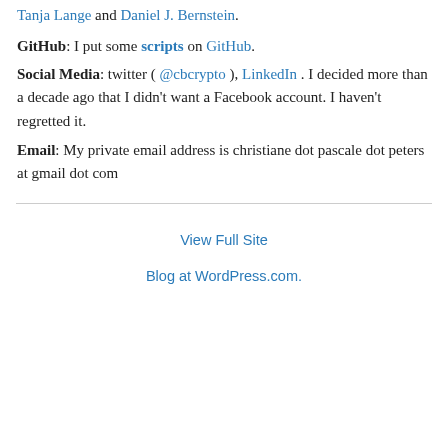Tanja Lange and Daniel J. Bernstein.
GitHub: I put some scripts on GitHub.
Social Media: twitter ( @cbcrypto ), LinkedIn . I decided more than a decade ago that I didn't want a Facebook account. I haven't regretted it.
Email: My private email address is christiane dot pascale dot peters at gmail dot com
View Full Site
Blog at WordPress.com.